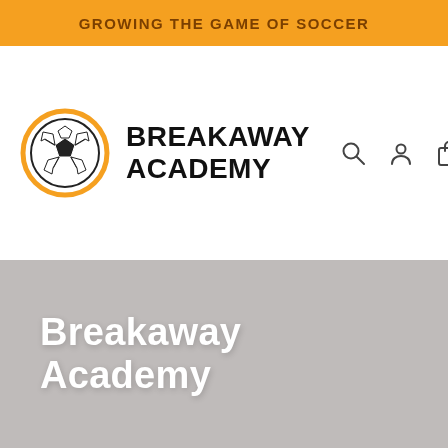GROWING THE GAME OF SOCCER
[Figure (logo): Breakaway Academy logo: soccer ball inside orange circle, with bold uppercase text BREAKAWAY ACADEMY, and navigation icons (search, user, cart, menu)]
Breakaway Academy